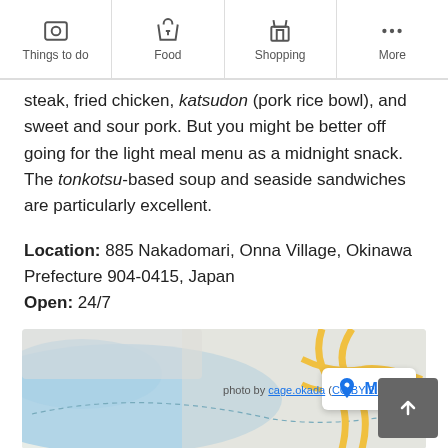Things to do | Food | Shopping | More
steak, fried chicken, katsudon (pork rice bowl), and sweet and sour pork. But you might be better off going for the light meal menu as a midnight snack. The tonkotsu-based soup and seaside sandwiches are particularly excellent.
Location: 885 Nakadomari, Onna Village, Okinawa Prefecture 904-0415, Japan
Open: 24/7
[Figure (map): Map showing location near Onna Village, Okinawa with road/water overlay and a MAP button]
photo by cage.okada (CC BY 2.0) modified